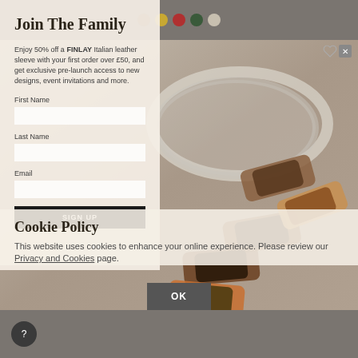[Figure (screenshot): Top strip with color selector dots (brown, mustard, red, dark green, beige) for product color options]
Join The Family
Enjoy 50% off a FINLAY Italian leather sleeve with your first order over £50, and get exclusive pre-launch access to new designs, event invitations and more.
First Name
Last Name
Email
SIGN UP
[Figure (photo): Photo of multiple pairs of sunglasses arranged on a light background, including clear frames and tortoiseshell frames]
Cookie Policy
This website uses cookies to enhance your online experience. Please review our Privacy and Cookies page.
OK